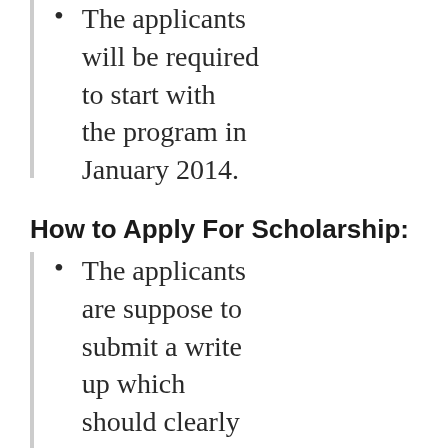The applicants will be required to start with the program in January 2014.
How to Apply For Scholarship:
The applicants are suppose to submit a write up which should clearly mention what motivates them